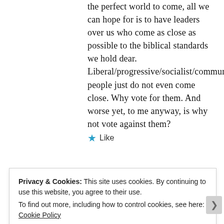the perfect world to come, all we can hope for is to have leaders over us who come as close as possible to the biblical standards we hold dear. Liberal/progressive/socialist/communist people just do not even come close. Why vote for them. And worse yet, to me anyway, is why not vote against them?
★ Like
Privacy & Cookies: This site uses cookies. By continuing to use this website, you agree to their use. To find out more, including how to control cookies, see here: Cookie Policy
Close and accept